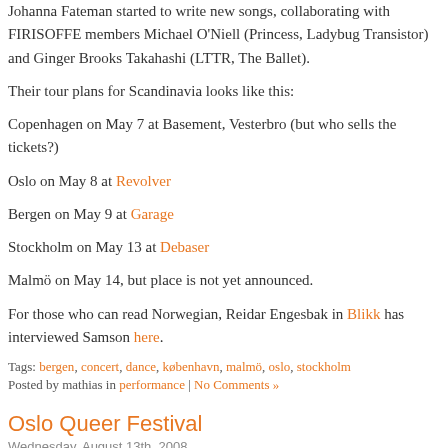Johanna Fateman started to write new songs, collaborating with FIRISOFFE members Michael O'Niell (Princess, Ladybug Transistor) and Ginger Brooks Takahashi (LTTR, The Ballet).
Their tour plans for Scandinavia looks like this:
Copenhagen on May 7 at Basement, Vesterbro (but who sells the tickets?)
Oslo on May 8 at Revolver
Bergen on May 9 at Garage
Stockholm on May 13 at Debaser
Malmö on May 14, but place is not yet announced.
For those who can read Norwegian, Reidar Engesbak in Blikk has interviewed Samson here.
Tags: bergen, concert, dance, københavn, malmö, oslo, stockholm
Posted by mathias in performance | No Comments »
Oslo Queer Festival
Wednesday, August 13th, 2008